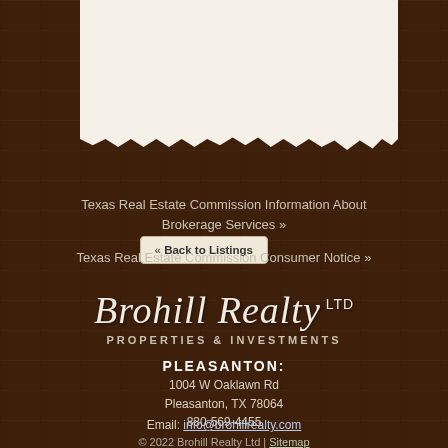[Figure (screenshot): Top cream/beige panel with torn bottom edge against wood background, containing a Back to Listings button]
« Back to Listings
Texas Real Estate Commission Information About Brokerage Services »
Texas Real Estate Commission Consumer Notice »
[Figure (logo): Brohill Realty LTD script logo with PROPERTIES & INVESTMENTS subtitle on dark wood background]
PLEASANTON:
1004 W Oaklawn Rd
Pleasanton, TX 78064
830-569-4455
Email: info@brohillrealty.com
© 2022 Brohill Realty Ltd | Sitemap